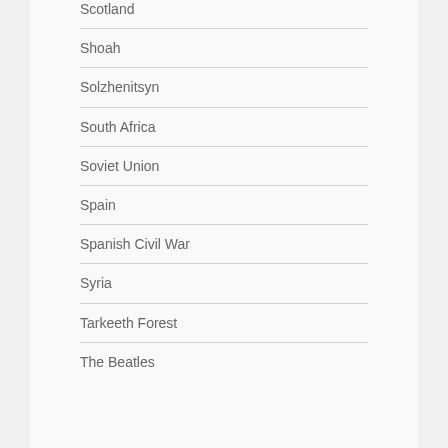Scotland
Shoah
Solzhenitsyn
South Africa
Soviet Union
Spain
Spanish Civil War
Syria
Tarkeeth Forest
The Beatles